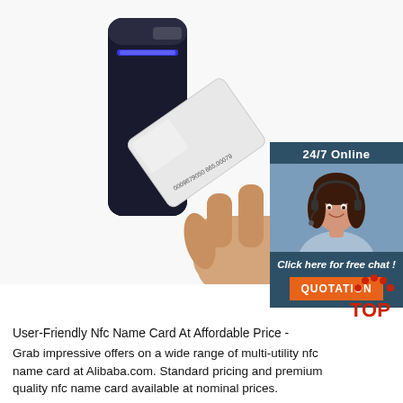[Figure (photo): Product photo showing a hand holding a white NFC proximity card (printed with '0009879050 665,00079') next to a black NFC card reader device with a blue LED strip. White background.]
[Figure (infographic): Online chat widget panel: '24/7 Online' header, customer service agent photo (woman with headset smiling), text 'Click here for free chat!', orange QUOTATION button]
[Figure (logo): Top seller logo: red dots arranged in arc above red 'TOP' text]
User-Friendly Nfc Name Card At Affordable Price - Grab impressive offers on a wide range of multi-utility nfc name card at Alibaba.com. Standard pricing and premium quality nfc name card available at nominal prices.